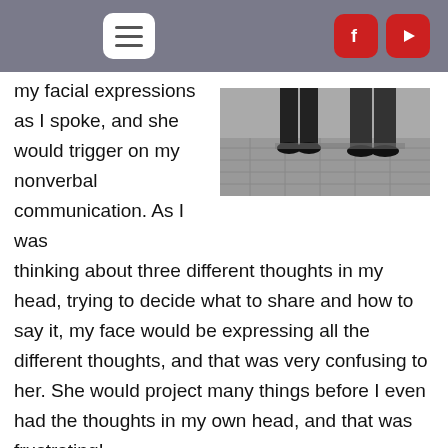[Figure (screenshot): Navigation bar with hamburger menu button and Facebook and YouTube social media icons]
my facial expressions as I spoke, and she would trigger on my nonverbal communication. As I was thinking about three different thoughts in my head, trying to decide what to share and how to say it, my face would be expressing all the different thoughts, and that was very confusing to her. She would project many things before I even had the thoughts in my own head, and that was frustrating!
[Figure (photo): Black and white photo of two people's legs/feet standing on a stone pavement]
One way I've found to change the process and help us be successful is to invite my wife to turn around. By not looking at each other, we are able to slow the processing down and hear each other without our nonverbal communication interfering.